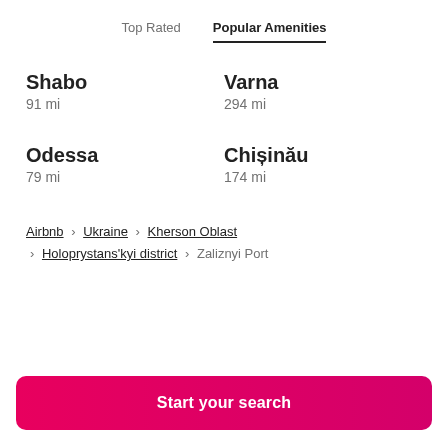Top Rated | Popular Amenities
Shabo
91 mi
Varna
294 mi
Odessa
79 mi
Chișinău
174 mi
Airbnb › Ukraine › Kherson Oblast › Holoprystans'kyi district › Zaliznyi Port
Start your search